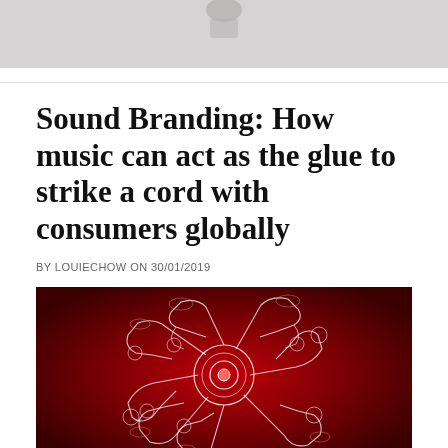[Figure (photo): Top portion of an image, partially cropped, showing a light gray background]
Sound Branding: How music can act as the glue to strike a cord with consumers globally
BY LOUIECHOW ON 30/01/2019
[Figure (illustration): Red and dark background illustration of neon-outlined brass musical instruments (trumpets, tubas, horns) arranged in a radial/circular pattern with white neon line art style]